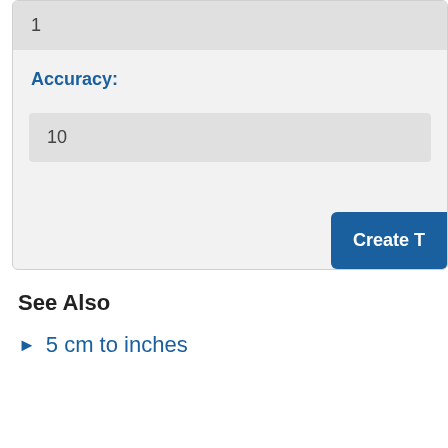1
Accuracy:
10
Create T
See Also
5 cm to inches